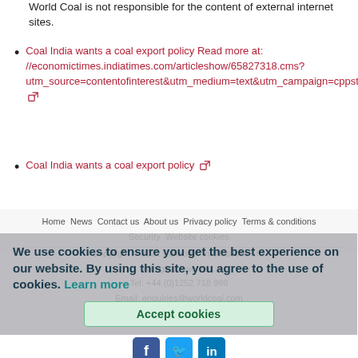World Coal is not responsible for the content of external internet sites.
Coal India wants a coal export policy Read more at: //economictimes.indiatimes.com/articleshow/65827318.cms?utm_source=contentofinterest&utm_medium=text&utm_campaign=cppst
Coal India wants a coal export policy
Home  News  Contact us  About us  Privacy policy  Terms & conditions  Security  Website cookies
Copyright © 2022 Palladian Publications Ltd. All rights reserved.
Tel: +44 (0)1252 718 999
Email: enquiries@worldcoal.com
We use cookies to ensure you get the best experience on our website. By using this site, you agree to the use of cookies. Learn more
Accept cookies